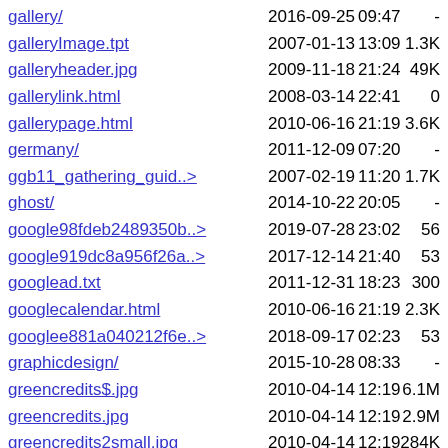gallery/  2016-09-25 09:47  -
galleryImage.tpt  2007-01-13 13:09  1.3K
galleryheader.jpg  2009-11-18 21:24  49K
gallerylink.html  2008-03-14 22:41  0
gallerypage.html  2010-06-16 21:19  3.6K
germany/  2011-12-09 07:20  -
ggb11_gathering_guid..>  2007-02-19 11:20  1.7K
ghost/  2014-10-22 20:05  -
google98fdeb2489350b..>  2019-07-28 23:02  56
google919dc8a956f26a..>  2017-12-14 21:40  53
googlead.txt  2011-12-31 18:23  300
googlecalendar.html  2010-06-16 21:19  2.3K
googlee881a040212f6e..>  2018-09-17 02:23  53
graphicdesign/  2015-10-28 08:33  -
greencredits$.jpg  2010-04-14 12:19  6.1M
greencredits.jpg  2010-04-14 12:19  2.9M
greencredits2small.jpg  2010-04-14 12:19  284K
groups/  2009-12-17 20:51  -
header.jpg  2008-03-26 10:25  69K
header3.jpg  2008-03-28 10:55  27K